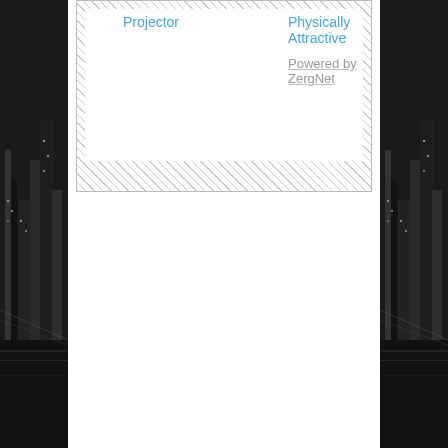[Figure (photo): Black and white city skyline at night, left strip]
[Figure (photo): Black and white city skyline at night, right strip]
Projector
Physically Attractive
Powered by ZergNet